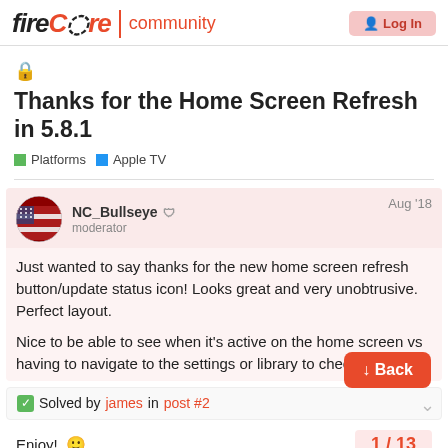fireCore | community
🔒 Thanks for the Home Screen Refresh in 5.8.1
Platforms  Apple TV
NC_Bullseye 🛡 moderator — Aug '18
Just wanted to say thanks for the new home screen refresh button/update status icon! Looks great and very unobtrusive. Perfect layout.
Nice to be able to see when it's active on the home screen vs having to navigate to the settings or library to check.
✅ Solved by james in post #2
Enjoy! 🙂
1 / 13